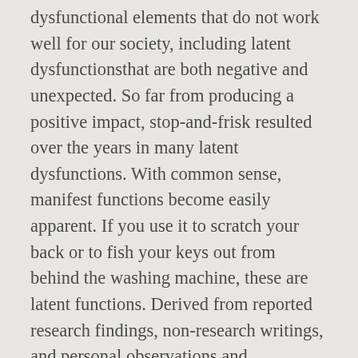dysfunctional elements that do not work well for our society, including latent dysfunctionsthat are both negative and unexpected. So far from producing a positive impact, stop-and-frisk resulted over the years in many latent dysfunctions. With common sense, manifest functions become easily apparent. If you use it to scratch your back or to fish your keys out from behind the washing machine, these are latent functions. Derived from reported research findings, non-research writings, and personal observations and experiences relative to health services, this paper focuses on the small rural community, suggesting research hypotheses and community planning possibilities. Manifest